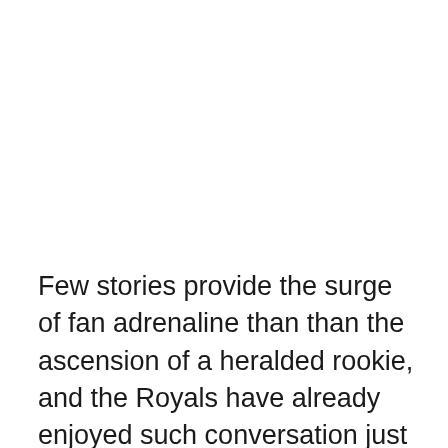Few stories provide the surge of fan adrenaline than than the ascension of a heralded rookie, and the Royals have already enjoyed such conversation just several days ago with Eric Hosmer. Duffy certainly earned his way to the majors at some point this season, but don't think for a minute that this timing wasn't specifically timed to stifle the laughter (or sorrow) from last night's performance. This was Dayton